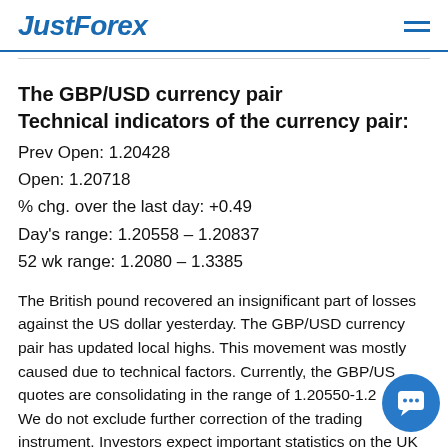JustForex
The GBP/USD currency pair
Technical indicators of the currency pair:
Prev Open: 1.20428
Open: 1.20718
% chg. over the last day: +0.49
Day's range: 1.20558 – 1.20837
52 wk range: 1.2080 – 1.3385
The British pound recovered an insignificant part of losses against the US dollar yesterday. The GBP/USD currency pair has updated local highs. This movement was mostly caused due to technical factors. Currently, the GBP/USD quotes are consolidating in the range of 1.20550-1.2... We do not exclude further correction of the trading instrument. Investors expect important statistics on the UK...